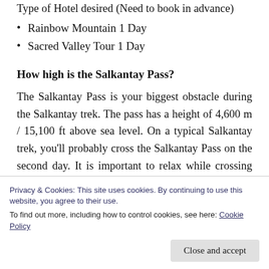Type of Hotel desired (Need to book in advance)
Rainbow Mountain 1 Day
Sacred Valley Tour 1 Day
How high is the Salkantay Pass?
The Salkantay Pass is your biggest obstacle during the Salkantay trek. The pass has a height of 4,600 m / 15,100 ft above sea level. On a typical Salkantay trek, you'll probably cross the Salkantay Pass on the second day. It is important to relax while crossing the pass. If you're prone to altitude sickness, that's where it can happen. Fortunately, as soon as you
Privacy & Cookies: This site uses cookies. By continuing to use this website, you agree to their use.
To find out more, including how to control cookies, see here: Cookie Policy
Close and accept